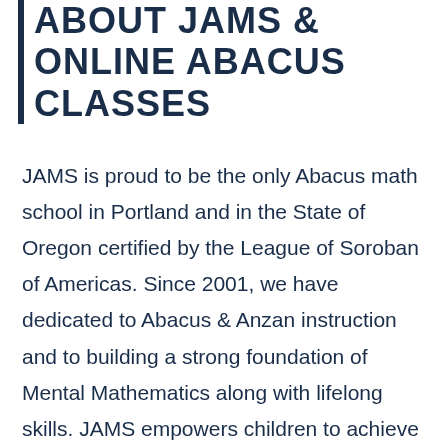ABOUT JAMS & ONLINE ABACUS CLASSES
JAMS is proud to be the only Abacus math school in Portland and in the State of Oregon certified by the League of Soroban of Americas. Since 2001, we have dedicated to Abacus & Anzan instruction and to building a strong foundation of Mental Mathematics along with lifelong skills. JAMS empowers children to achieve academic success, so they will grow in areas that go well beyond the classroom. JAMS parents can expect their child to improve in 5 different areas: concentration, discipline, problem-solving, time management,